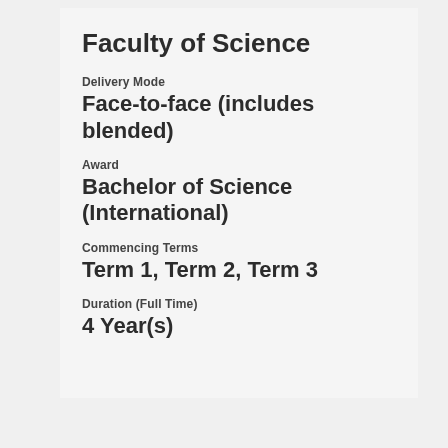Faculty of Science
Delivery Mode
Face-to-face (includes blended)
Award
Bachelor of Science (International)
Commencing Terms
Term 1, Term 2, Term 3
Duration (Full Time)
4 Year(s)